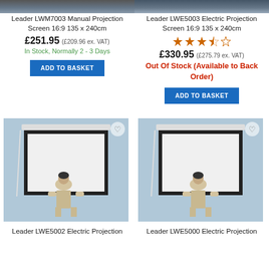[Figure (photo): Top cropped portion of projection screen product photo - left product]
[Figure (photo): Top cropped portion of projection screen product photo - right product]
Leader LWM7003 Manual Projection Screen 16:9 135 x 240cm
£251.95 (£209.96 ex. VAT)
In Stock, Normally 2 - 3 Days
ADD TO BASKET
Leader LWE5003 Electric Projection Screen 16:9 135 x 240cm
[Figure (other): Star rating: 3.5 out of 5 stars]
£330.95 (£275.79 ex. VAT)
Out Of Stock (Available to Back Order)
ADD TO BASKET
[Figure (photo): Woman standing in front of wall-mounted projection screen - Leader LWE5002]
[Figure (photo): Woman standing in front of wall-mounted projection screen - Leader LWE5000]
Leader LWE5002 Electric Projection
Leader LWE5000 Electric Projection